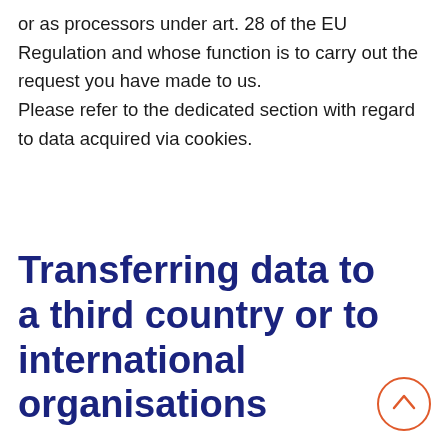or as processors under art. 28 of the EU Regulation and whose function is to carry out the request you have made to us. Please refer to the dedicated section with regard to data acquired via cookies.
Transferring data to a third country or to international organisations